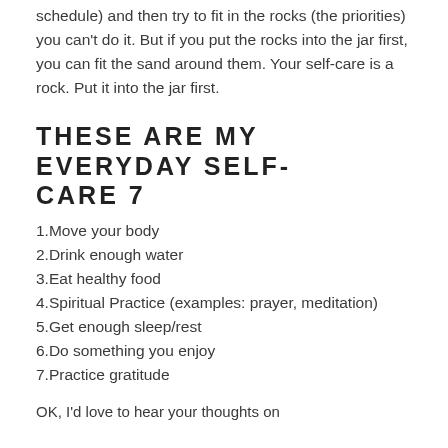schedule) and then try to fit in the rocks (the priorities) you can't do it. But if you put the rocks into the jar first, you can fit the sand around them. Your self-care is a rock. Put it into the jar first.
THESE ARE MY EVERYDAY SELF-CARE 7
1.Move your body
2.Drink enough water
3.Eat healthy food
4.Spiritual Practice (examples: prayer, meditation)
5.Get enough sleep/rest
6.Do something you enjoy
7.Practice gratitude
OK, I'd love to hear your thoughts on